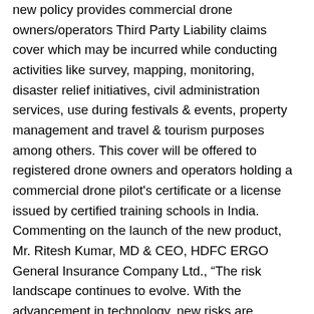new policy provides commercial drone owners/operators Third Party Liability claims cover which may be incurred while conducting activities like survey, mapping, monitoring, disaster relief initiatives, civil administration services, use during festivals & events, property management and travel & tourism purposes among others. This cover will be offered to registered drone owners and operators holding a commercial drone pilot's certificate or a license issued by certified training schools in India. Commenting on the launch of the new product, Mr. Ritesh Kumar, MD & CEO, HDFC ERGO General Insurance Company Ltd., “The risk landscape continues to evolve. With the advancement in technology, new risks are emerging that open up new horizons for us to offer innovative products. Today, drones are becoming more and more popular in events and other outdoor commercial activities, which require skilled professionals to operate them. But, mistakes in operating and equipment failure may cause damage to third parties. Considering this we are launching this cover under our